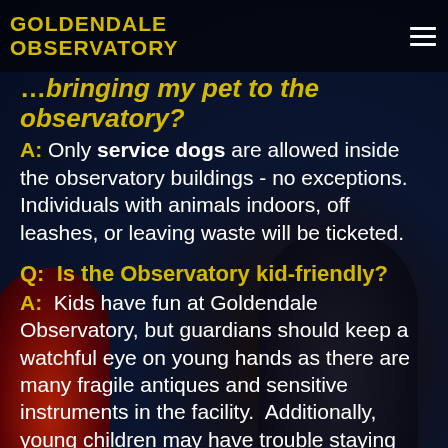GOLDENDALE OBSERVATORY
Q: …bringing my pet to the observatory?
A: Only service dogs are allowed inside the observatory buildings - no exceptions. Individuals with animals indoors, off leashes, or leaving waste will be ticketed.
Q: Is the Observatory kid-friendly?
A: Kids have fun at Goldendale Observatory, but guardians should keep a watchful eye on young hands as there are many fragile antiques and sensitive instruments in the facility. Additionally, young children may have trouble staying